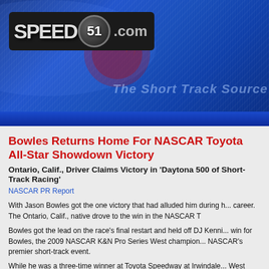[Figure (logo): Speed51.com logo on dark blue racing banner background with tagline 'The Short Track Source']
Bowles Returns Home For NASCAR Toyota All-Star Showdown Victory
Ontario, Calif., Driver Claims Victory in 'Daytona 500 of Short-Track Racing'
NASCAR PR Report
With Jason Bowles got the one victory that had alluded him during his career. The Ontario, Calif., native drove to the win in the NASCAR T...
Bowles got the lead on the race's final restart and held off DJ Kenni... win for Bowles, the 2009 NASCAR K&N Pro Series West champion... NASCAR's premier short-track event.
While he was a three-time winner at Toyota Speedway at Irwindale... West career, Bowles' best finish in the three previous starts in the 'D... third in 2009.
Kennington, the 2010 NASCAR Canadian Tire Series champion, dr... Irwindale. Jonathon Gomez finished third, while Luis Martinez Jr. an... five.